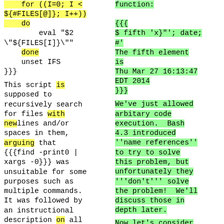for ((I=0; I < ${#FILES[@]}; I++))
    do
        eval "$2 \"${FILES[I]}\""
    done
    unset IFS
}}}
This script is supposed to recursively search for files with newlines and/or spaces in them, arguing that {{{find -print0 | xargs -0}}} was unsuitable for some purposes such as multiple commands. It was followed by an instructional description on all the lines involved,
function:

{{{
$ fifth 'x}"'; date;
#'
The fifth element is
Thu Mar 27 16:13:47 EDT 2014
}}}
We've just allowed arbitary code execution.  Bash 4.3 introduced ''name references'' to try to solve this problem, but unfortunately they '''don't''' solve the problem!  We'll discuss those in depth later.
Now let's consider